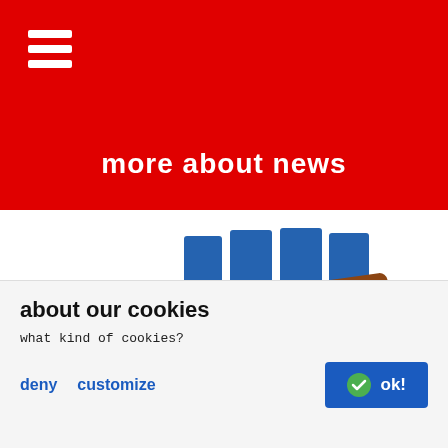more about news
[Figure (photo): Tony's Chocolonely chocolate bar broken into pieces with blue graphic fist/blocks overlay, product branding visible]
about our cookies
what kind of cookies?
deny   customize   ok!